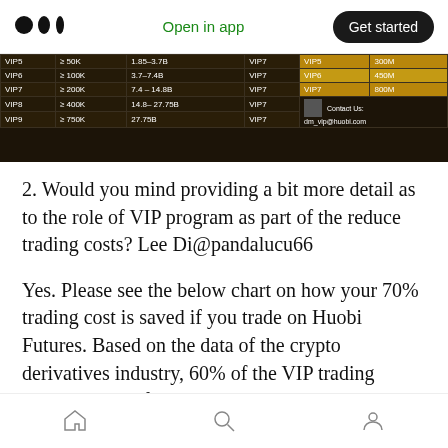Open in app | Get started
[Figure (table-as-image): VIP program table showing VIP levels (VIP5-VIP9) with trading volume thresholds, fee ranges, and bonus amounts up to 900M, with QR code and contact info dm_vip@huobi.com]
2. Would you mind providing a bit more detail as to the role of VIP program as part of the reduce trading costs? Lee Di@pandalucu66
Yes. Please see the below chart on how your 70% trading cost is saved if you trade on Huobi Futures. Based on the data of the crypto derivatives industry, 60% of the VIP trading volume comes from taker orders. and the
Home | Search | Profile